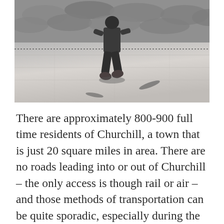[Figure (photo): A person walking across a large light-grey tarpaulin or membrane surface, viewed from behind. The person is wearing dark clothing and boots. The surface appears to be a construction or roofing project. Sandbags or similar objects are visible at the top edge.]
There are approximately 800-900 full time residents of Churchill, a town that is just 20 square miles in area. There are no roads leading into or out of Churchill – the only access is though rail or air – and those methods of transportation can be quite sporadic, especially during the long brutally frigid winter.   The main street can be walked from one end to the other in 15 minutes.  However,